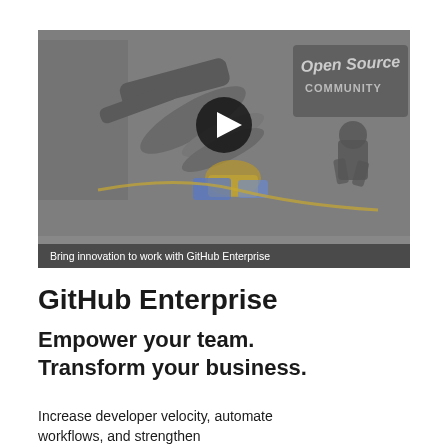[Figure (screenshot): Video thumbnail showing an animated scene with robotic mechanical arms, an open-source community sign, and a cartoon character. A circular play button is centered on the image. A caption bar at the bottom reads 'Bring innovation to work with GitHub Enterprise'.]
Bring innovation to work with GitHub Enterprise
GitHub Enterprise
Empower your team. Transform your business.
Increase developer velocity, automate workflows, and strengthen